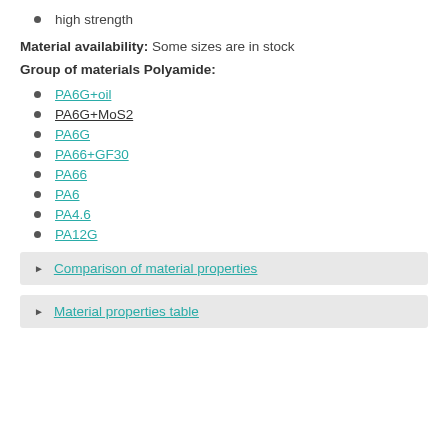high strength
Material availability: Some sizes are in stock
Group of materials Polyamide:
PA6G+oil
PA6G+MoS2
PA6G
PA66+GF30
PA66
PA6
PA4.6
PA12G
Comparison of material properties
Material properties table